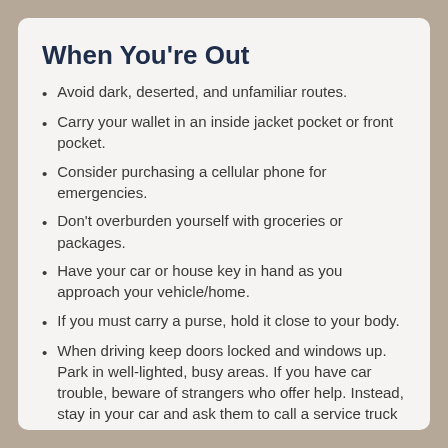When You're Out
Avoid dark, deserted, and unfamiliar routes.
Carry your wallet in an inside jacket pocket or front pocket.
Consider purchasing a cellular phone for emergencies.
Don't overburden yourself with groceries or packages.
Have your car or house key in hand as you approach your vehicle/home.
If you must carry a purse, hold it close to your body.
When driving keep doors locked and windows up. Park in well-lighted, busy areas. If you have car trouble, beware of strangers who offer help. Instead, stay in your car and ask them to call a service truck or police.
When using public transportation, sit near the driver if possible.